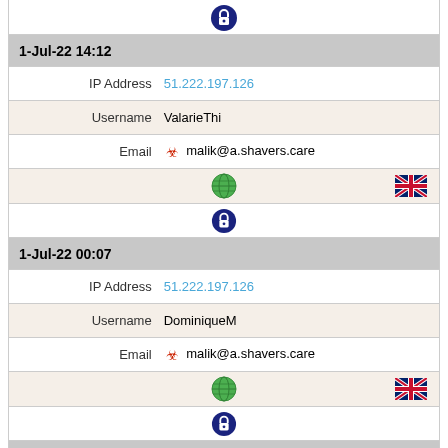[Figure (infographic): Lock/courier icon at top center]
1-Jul-22 14:12
IP Address  51.222.197.126
Username  ValarieThi
Email  ☣ malik@a.shavers.care
[Figure (infographic): Globe icon (center) and UK flag (right)]
[Figure (infographic): Lock/courier icon]
1-Jul-22 00:07
IP Address  51.222.197.126
Username  DominiqueM
Email  ☣ malik@a.shavers.care
[Figure (infographic): Globe icon (center) and UK flag (right)]
[Figure (infographic): Lock/courier icon]
30-Jun-22 22:40
IP Address  51.222.197.126
Username  SH
Email  ☣ malik@a.shavers.care